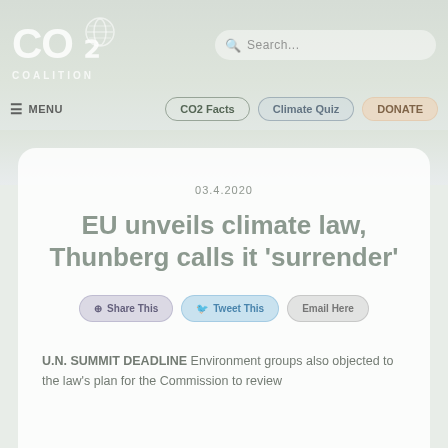[Figure (logo): CO2 Coalition logo with leaf icon and COALITION text below]
Search...
☰ MENU   CO2 Facts   Climate Quiz   DONATE
03.4.2020
EU unveils climate law, Thunberg calls it 'surrender'
Share This   Tweet This   Email Here
U.N. SUMMIT DEADLINE Environment groups also objected to the law's plan for the Commission to review